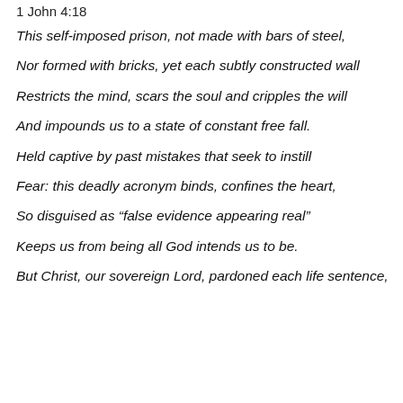1 John 4:18
This self-imposed prison, not made with bars of steel,
Nor formed with bricks, yet each subtly constructed wall
Restricts the mind, scars the soul and cripples the will
And impounds us to a state of constant free fall.
Held captive by past mistakes that seek to instill
Fear: this deadly acronym binds, confines the heart,
So disguised as “false evidence appearing real”
Keeps us from being all God intends us to be.
But Christ, our sovereign Lord, pardoned each life sentence,